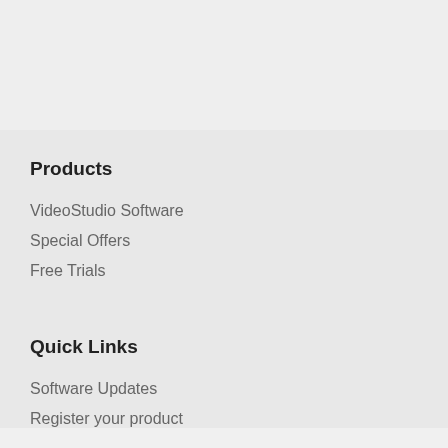Products
VideoStudio Software
Special Offers
Free Trials
Quick Links
Software Updates
Register your product